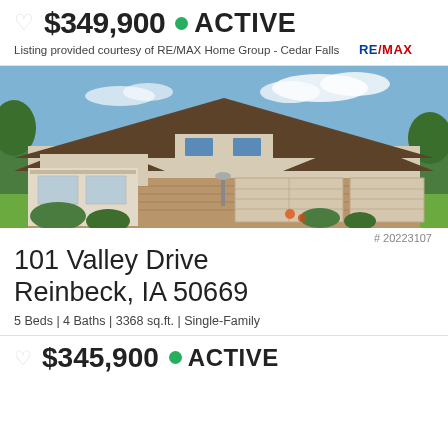$349,900 • ACTIVE
Listing provided courtesy of RE/MAX Home Group - Cedar Falls  RE/MAX
[Figure (photo): Exterior photo of a two-story residential home with brick accents, three-car garage, and landscaped front yard on a sunny day.]
# 20223107
101 Valley Drive
Reinbeck, IA 50669
5 Beds | 4 Baths | 3368 sq.ft. | Single-Family
$345,900 • ACTIVE